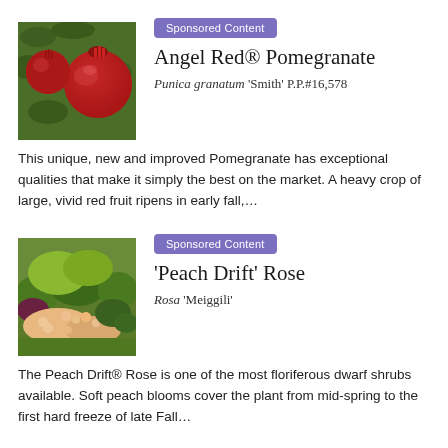[Figure (photo): Photo of red pomegranates hanging on a tree with green leaves]
Sponsored Content
Angel Red® Pomegranate
Punica granatum 'Smith' P.P.#16,578
This unique, new and improved Pomegranate has exceptional qualities that make it simply the best on the market. A heavy crop of large, vivid red fruit ripens in early fall,...
[Figure (photo): Photo of a garden landscape with pink blooming dwarf shrubs and green foliage]
Sponsored Content
'Peach Drift' Rose
Rosa 'Meiggili'
The Peach Drift® Rose is one of the most floriferous dwarf shrubs available. Soft peach blooms cover the plant from mid-spring to the first hard freeze of late Fall...